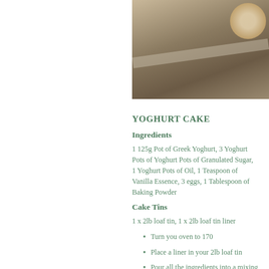[Figure (photo): Cropped photograph of a baked cake or food item on a wooden/stone surface with flowers in top right corner]
YOGHURT CAKE
Ingredients
1 125g Pot of Greek Yoghurt, 3 Yoghurt Pots of Yoghurt Pots of Granulated Sugar, 1 Yoghurt Pots of Oil, 1 Teaspoon of Vanilla Essence, 3 eggs, 1 Tablespoon of Baking Powder
Cake Tins
1 x 2lb loaf tin, 1 x 2lb loaf tin liner
Turn you oven to 170
Place a liner in your 2lb loaf tin
Pour all the ingredients into a mixing bowl, using the yoghurt pot to measure out the ingredients
Mix together thoroughly
Add your flavouring ... 2 small handfuls